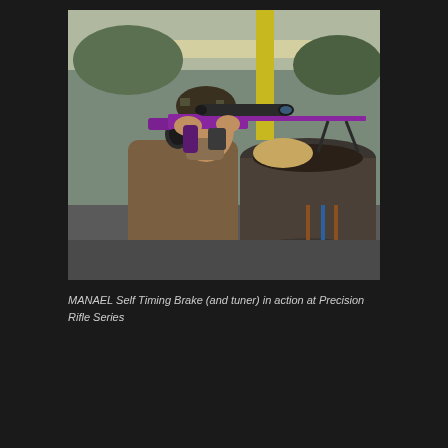[Figure (photo): A person at a shooting range holding a purple/violet precision rifle with a large scope and bipod, resting it on a large cylindrical tube or drum. The shooter is wearing ear protection, a camo beanie, and a brown hoodie. The background shows an indoor/covered shooting range with trees visible outside.]
MANAEL Self Timing Brake (and tuner) in action at Precision Rifle Series